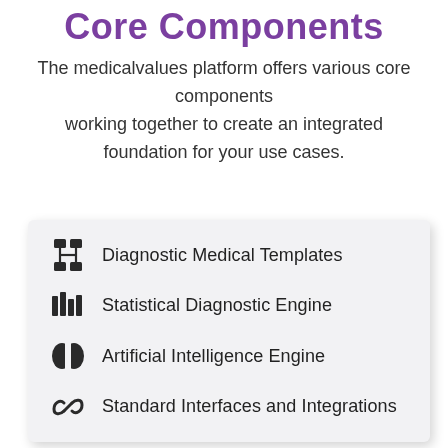Core Components
The medicalvalues platform offers various core components working together to create an integrated foundation for your use cases.
Diagnostic Medical Templates
Statistical Diagnostic Engine
Artificial Intelligence Engine
Standard Interfaces and Integrations